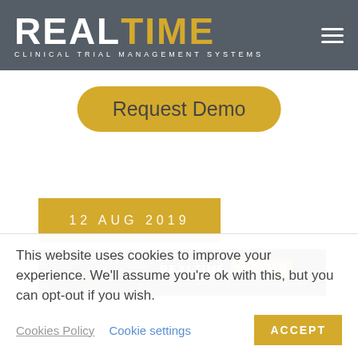REALTIME CLINICAL TRIAL MANAGEMENT SYSTEMS
[Figure (screenshot): Request Demo button - gold rounded pill button with dark text]
12 AUG 2019
[Figure (screenshot): Article thumbnail banner with dark background showing REALTIME CTMS logo and plant image]
This website uses cookies to improve your experience. We'll assume you're ok with this, but you can opt-out if you wish.
Cookies Policy   Cookie settings   ACCEPT